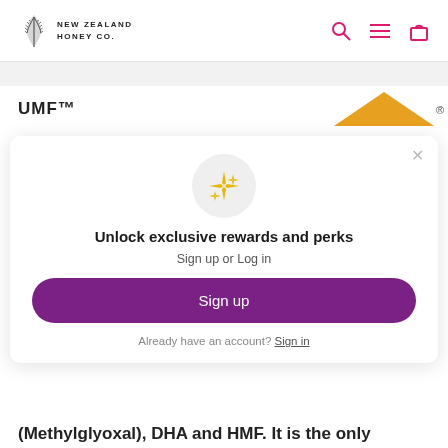NEW ZEALAND HONEY CO.
UMF™
[Figure (logo): New Zealand Honey Co. logo with silver fern icon and text, plus navigation icons (search, menu, cart) in pink/magenta]
[Figure (illustration): Yellow/gold chevron/caret shape with registered trademark symbol]
Unlock exclusive rewards and perks
Sign up or Log in
Sign up
Already have an account? Sign in
(Methylglyoxal), DHA and HMF. It is the only